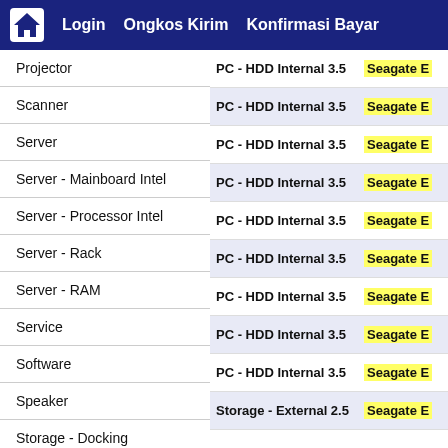Login  Ongkos Kirim  Konfirmasi Bayar
Projector
Scanner
Server
Server - Mainboard Intel
Server - Processor Intel
Server - Rack
Server - RAM
Service
Software
Speaker
Storage - Docking
Storage - Enclosure 2.5
Storage - Enclosure 3.5
Storage - External 2.5
Storage - External 3.5
| Category | Brand |
| --- | --- |
| PC - HDD Internal 3.5 | Seagate E... |
| PC - HDD Internal 3.5 | Seagate E... |
| PC - HDD Internal 3.5 | Seagate E... |
| PC - HDD Internal 3.5 | Seagate E... |
| PC - HDD Internal 3.5 | Seagate E... |
| PC - HDD Internal 3.5 | Seagate E... |
| PC - HDD Internal 3.5 | Seagate E... |
| PC - HDD Internal 3.5 | Seagate E... |
| PC - HDD Internal 3.5 | Seagate E... |
| Storage - External 2.5 | Seagate E... |